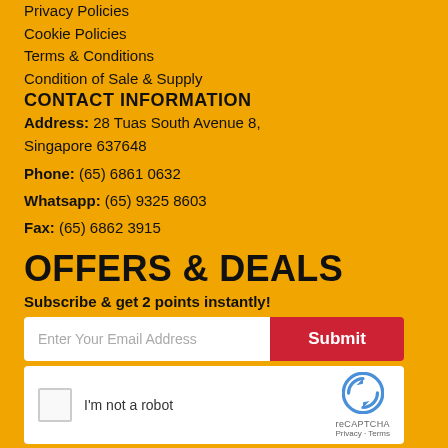Privacy Policies
Cookie Policies
Terms & Conditions
Condition of Sale & Supply
CONTACT INFORMATION
Address:  28 Tuas South Avenue 8, Singapore 637648
Phone: (65) 6861 0632
Whatsapp: (65) 9325 8603
Fax: (65) 6862 3915
OFFERS & DEALS
Subscribe & get 2 points instantly!
Enter Your Email Address
Submit
I'm not a robot
FOLLOW US